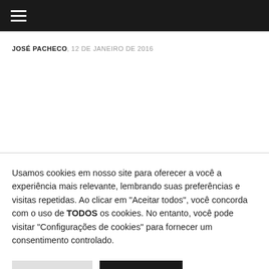☰
JOSÉ PACHECO, 12 DE JANEIRO DE 2016
Usamos cookies em nosso site para oferecer a você a experiência mais relevante, lembrando suas preferências e visitas repetidas. Ao clicar em "Aceitar todos", você concorda com o uso de TODOS os cookies. No entanto, você pode visitar "Configurações de cookies" para fornecer um consentimento controlado.
Configurações
Aceitar todos